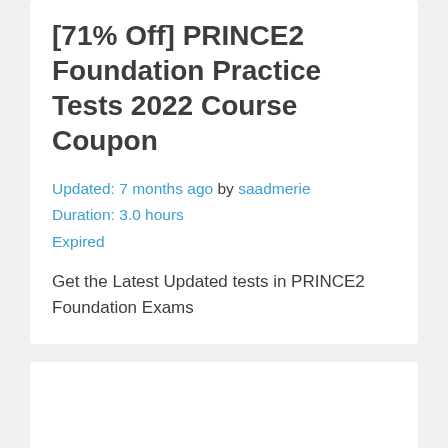[71% Off] PRINCE2 Foundation Practice Tests 2022 Course Coupon
Updated: 7 months ago by saadmerie
Duration: 3.0 hours
Expired
Get the Latest Updated tests in PRINCE2 Foundation Exams
[Figure (other): Empty white card/placeholder area at the bottom of the page]